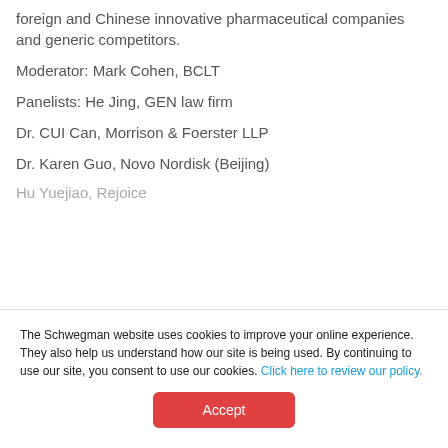foreign and Chinese innovative pharmaceutical companies and generic competitors.
Moderator: Mark Cohen, BCLT
Panelists: He Jing, GEN law firm
Dr. CUI Can, Morrison & Foerster LLP
Dr. Karen Guo, Novo Nordisk (Beijing)
Hu Yuejiao, Rejoice
The Schwegman website uses cookies to improve your online experience. They also help us understand how our site is being used. By continuing to use our site, you consent to use our cookies. Click here to review our policy.